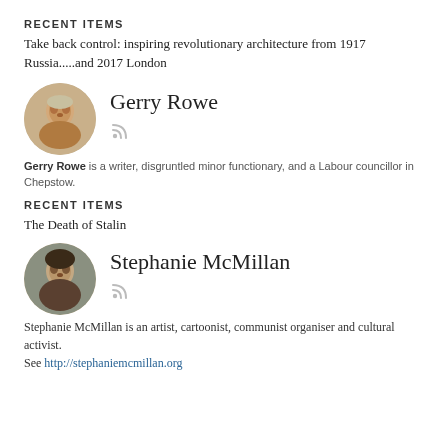RECENT ITEMS
Take back control: inspiring revolutionary architecture from 1917 Russia.....and 2017 London
[Figure (photo): Circular avatar photo of Gerry Rowe, an older man with light hair]
Gerry Rowe
Gerry Rowe is a writer, disgruntled minor functionary, and a Labour councillor in Chepstow.
RECENT ITEMS
The Death of Stalin
[Figure (photo): Circular avatar photo of Stephanie McMillan, a woman with dark hair]
Stephanie McMillan
Stephanie McMillan is an artist, cartoonist, communist organiser and cultural activist.
See http://stephaniemcmillan.org